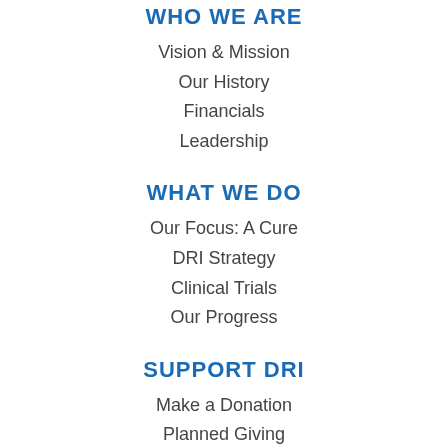WHO WE ARE
Vision & Mission
Our History
Financials
Leadership
WHAT WE DO
Our Focus: A Cure
DRI Strategy
Clinical Trials
Our Progress
SUPPORT DRI
Make a Donation
Planned Giving